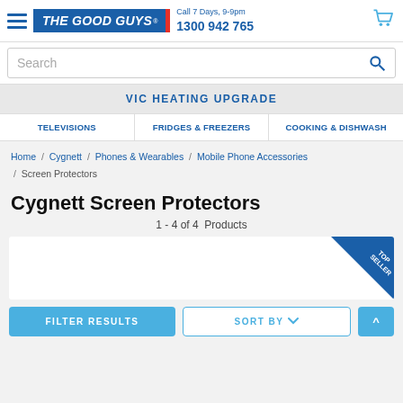[Figure (screenshot): The Good Guys retail website header with logo, phone number 1300 942 765, hamburger menu and cart icon]
Search
VIC HEATING UPGRADE
TELEVISIONS   FRIDGES & FREEZERS   COOKING & DISHWASH
Home / Cygnett / Phones & Wearables / Mobile Phone Accessories / Screen Protectors
Cygnett Screen Protectors
1 - 4 of 4  Products
TOP SELLER
FILTER RESULTS   SORT BY   ^